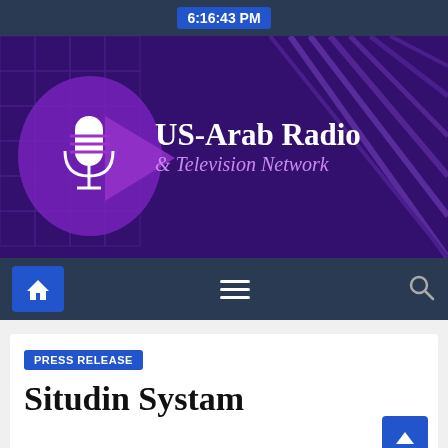6:16:43 PM
[Figure (logo): US-Arab Radio & Television Network banner with microphone logo on purple architectural background]
[Figure (screenshot): Navigation bar with home icon (highlighted blue), hamburger menu icon, and search icon on dark blue background]
PRESS RELEASE
Situ...